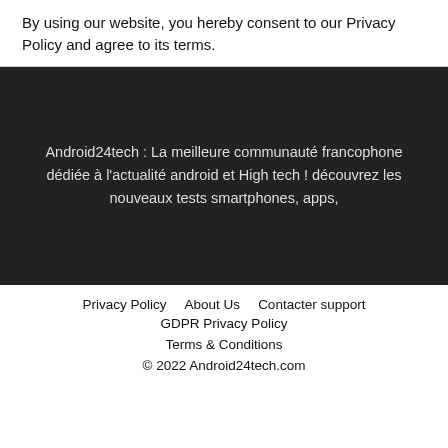By using our website, you hereby consent to our Privacy Policy and agree to its terms.
Android24tech : La meilleure communauté francophone dédiée à l'actualité android et High tech ! découvrez les nouveaux tests smartphones, apps,
Privacy Policy   About Us   Contacter support   GDPR Privacy Policy   Terms & Conditions   © 2022 Android24tech.com